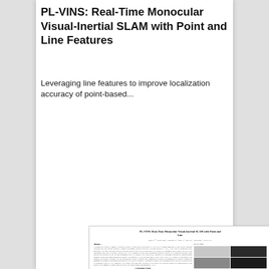PL-VINS: Real-Time Monocular Visual-Inertial SLAM with Point and Line Features
Leveraging line features to improve localization accuracy of point-based...
[Figure (screenshot): Preview thumbnail of the paper 'PL-VINS: Real-Time Monocular Visual-Inertial SLAM with Point and Line' showing abstract, introduction, author names, figures of challenging scenes, and introductory text columns.]